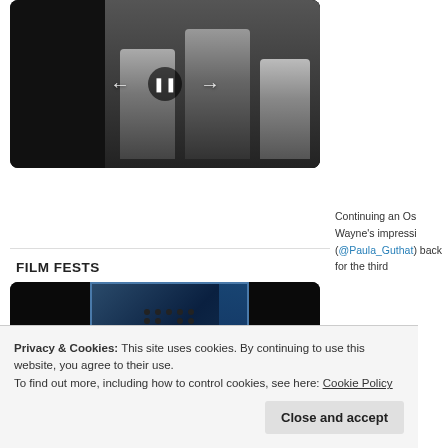[Figure (screenshot): Video player widget showing black and white photo of people, with playback controls (back, pause, forward arrows) overlaid]
FILM FESTS
[Figure (screenshot): Video/slideshow player with Classic Film Festival movie poster showing 'HISTORY' text on dark blue background]
Continuing an Os Wayne's impressi (@Paula_Guthat) back for the third
Privacy & Cookies: This site uses cookies. By continuing to use this website, you agree to their use.
To find out more, including how to control cookies, see here: Cookie Policy
Close and accept